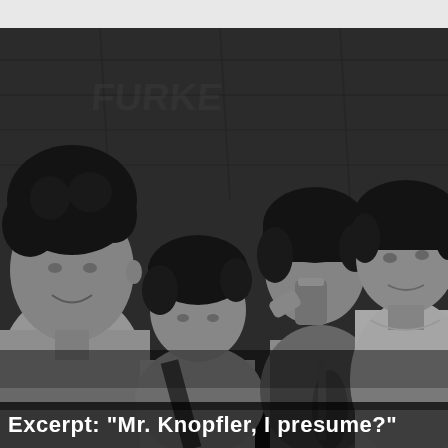[Figure (photo): Black and white photograph of four men, presumably a band. From left to right: a man with curly hair wearing a light shirt; a shorter man with straight hair looking downward, holding a guitar; a man drinking from a can while holding a stringed instrument; and a man on the far right in a white t-shirt looking at the camera. They appear to be in an informal setting with a wooden backdrop.]
Excerpt: "Mr. Knopfler, I presume?"